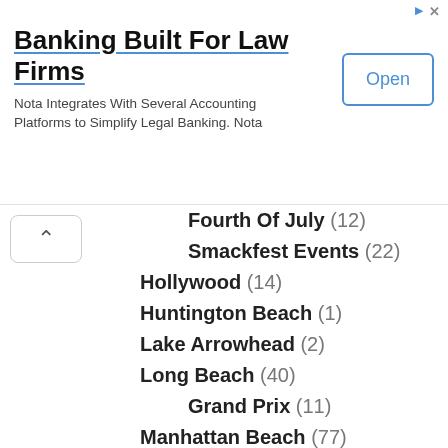[Figure (screenshot): Advertisement banner for Nota banking service for law firms, with title 'Banking Built For Law Firms', subtitle 'Nota Integrates With Several Accounting Platforms to Simplify Legal Banking. Nota', and an 'Open' button.]
Fourth Of July (12)
Smackfest Events (22)
Hollywood (14)
Huntington Beach (1)
Lake Arrowhead (2)
Long Beach (40)
Grand Prix (11)
Manhattan Beach (77)
Marina del Rey (6)
Newport Beach (42)
Orange County (26)
Party Report (15)
Redondo Beach (81)
Santa Monica (3)